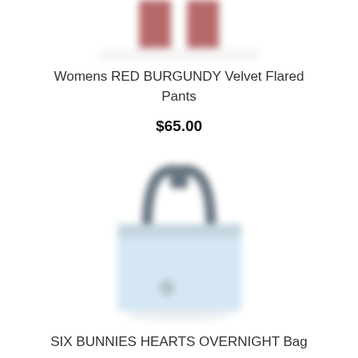[Figure (photo): Blurred photo of red/burgundy velvet flared pants, partially cropped at top]
Womens RED BURGUNDY Velvet Flared Pants
$65.00
[Figure (photo): Blurred photo of a light blue tote bag with dark navy handles — SIX BUNNIES HEARTS OVERNIGHT Bag]
SIX BUNNIES HEARTS OVERNIGHT Bag